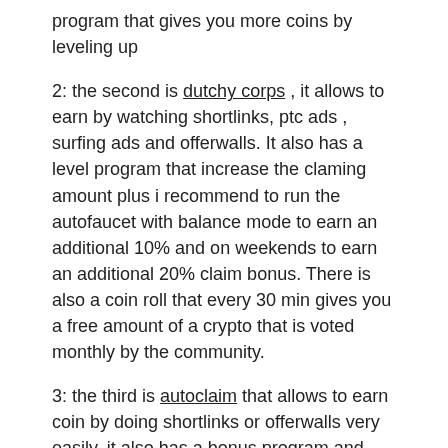program that gives you more coins by leveling up
2: the second is dutchy corps , it allows to earn by watching shortlinks, ptc ads , surfing ads and offerwalls. It also has a level program that increase the claming amount plus i recommend to run the autofaucet with balance mode to earn an additional 10% and on weekends to earn an additional 20% claim bonus. There is also a coin roll that every 30 min gives you a free amount of a crypto that is voted monthly by the community.
3: the third is autoclaim that allows to earn coin by doing shortlinks or offerwalls very easily, it also has a bonus program and there is no minimum amount to withdraw
I think is a good way to start earn some crypto without spend money, if someone did register and want some tip I use to do the shortlinks and ptc ads quickly feel free to message me. I suggest to use an adblock